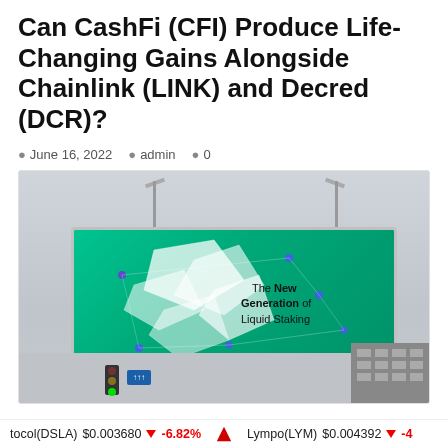Can CashFi (CFI) Produce Life-Changing Gains Alongside Chainlink (LINK) and Decred (DCR)?
June 16, 2022  admin  0
[Figure (photo): Billboard advertisement for CashFi showing 'The New Generation of Liquid Staking' with geometric white shapes on a green background, mounted on poles with street scene below including traffic light and building]
tocol(DSLA)  $0.003680  ↓  -6.82%     Lympo(LYM)  $0.004392  ↓  -4...